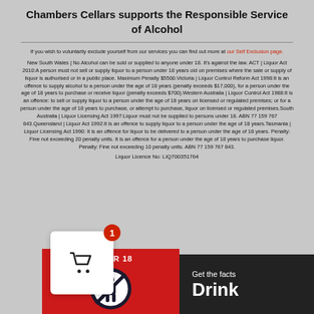Chambers Cellars supports the Responsible Service of Alcohol
If you wish to voluntarily exclude yourself from our services you can find out more at our Self Exclusion page.
New South Wales | No Alcohol can be sold or supplied to anyone under 18. It's against the law. ACT | Liquor Act 2010:A person must not sell or supply liquor to a person under 18 years old on premises where the sale or supply of liquor is authorised or in a public place. Maximum Penalty $5500.Victoria | Liquor Control Reform Act 1998:It is an offence to supply alcohol to a person under the age of 18 years (penalty exceeds $17,000), for a person under the age of 18 years to purchase or receive liquor (penalty exceeds $700).Western Australia | Liquor Control Act 1988:It is an offence: to sell or supply liquor to a person under the age of 18 years on licensed or regulated premises; or for a person under the age of 18 years to purchase, or attempt to purchase, liquor on licensed or regulated premises.South Australia | Liquor Licensing Act 1997:Liquor must not be supplied to persons under 18. ABN 77 159 767 843.Queensland | Liquor Act 1992:It is an offence to supply liquor to a person under the age of 18 years.Tasmania | Liquor Licensing Act 1990: It is an offence for liquor to be delivered to a person under the age of 18 years. Penalty: Fine not exceeding 20 penalty units. It is an offence for a person under the age of 18 years to purchase liquor. Penalty: Fine not exceeding 10 penalty units. ABN 77 159 767 843.
Liquor Licence No: LIQ700351764
[Figure (infographic): Under 18 no-entry sign on red background with UNDER 18 text]
[Figure (infographic): Get the facts Drink Wise logo on dark background]